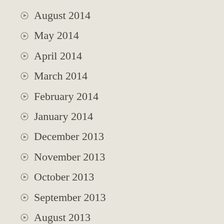August 2014
May 2014
April 2014
March 2014
February 2014
January 2014
December 2013
November 2013
October 2013
September 2013
August 2013
June 2013
May 2013